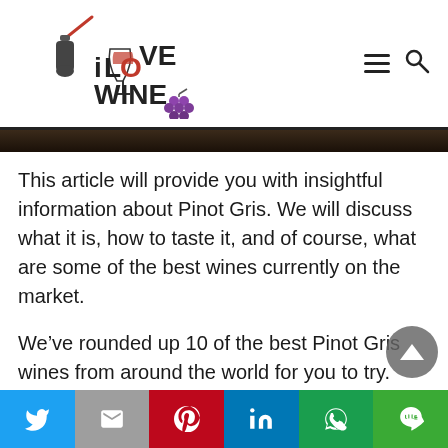[Figure (logo): iLOVEWINE logo with wine bottle, wine glass, and grape cluster]
[Figure (photo): Dark colored image bar, partial banner photo of dark background]
This article will provide you with insightful information about Pinot Gris. We will discuss what it is, how to taste it, and of course, what are some of the best wines currently on the market.
We’ve rounded up 10 of the best Pinot Gris wines from around the world for you to try. You’re sure to find a bottle (or two) that will please your palate!
Twitter | Gmail | Pinterest | LinkedIn | WhatsApp | Line